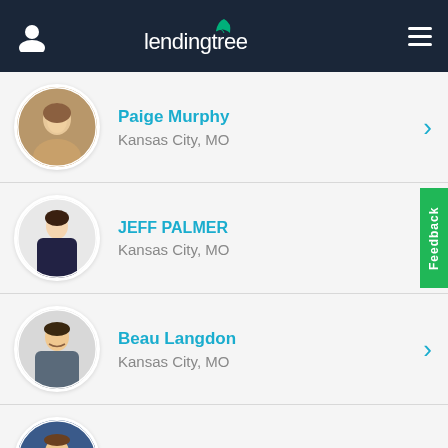[Figure (logo): LendingTree logo with leaf icon on dark navy header bar, with user profile icon on left and hamburger menu on right]
Paige Murphy
Kansas City, MO
JEFF PALMER
Kansas City, MO
Beau Langdon
Kansas City, MO
Rhett Bouvia